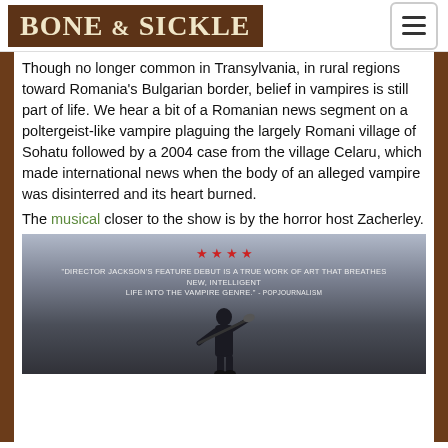BONE & SICKLE
Though no longer common in Transylvania, in rural regions toward Romania’s Bulgarian border, belief in vampires is still part of life. We hear a bit of a Romanian news segment on a poltergeist-like vampire plaguing the largely Romani village of Sohatu followed by a 2004 case from the village Celaru, which made international news when the body of an alleged vampire was disinterred and its heart burned.
The musical closer to the show is by the horror host Zacherley.
[Figure (photo): Movie promotional image with 4 red stars and quote: 'Director Jackson's feature debut is a true work of art that breathes new, intelligent life into the vampire genre.' - Popjournalism. Shows a dark silhouetted figure holding a shovel over their shoulder against a moody sky background.]